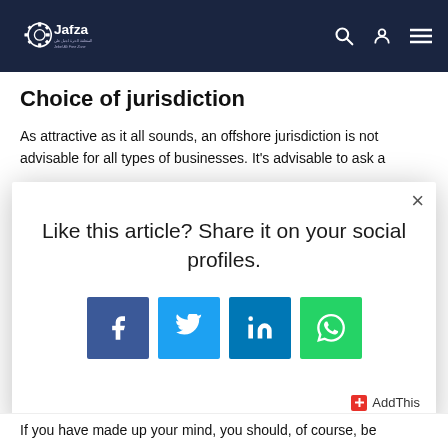Jafza – Jebel Ali Free Zone
Choice of jurisdiction
As attractive as it all sounds, an offshore jurisdiction is not advisable for all types of businesses. It's advisable to ask a
Like this article? Share it on your social profiles.
If you have made up your mind, you should, of course, be